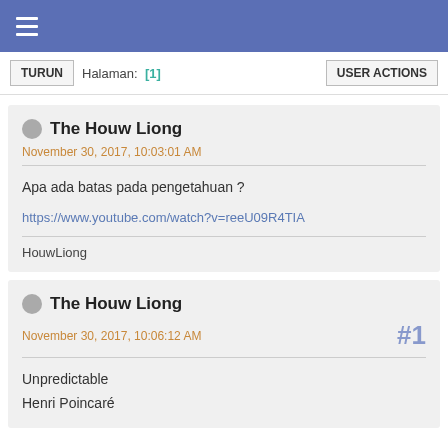≡
TURUN   Halaman: [1]   USER ACTIONS
The Houw Liong
November 30, 2017, 10:03:01 AM
Apa ada batas pada pengetahuan ?
https://www.youtube.com/watch?v=reeU09R4TIA
HouwLiong
The Houw Liong
November 30, 2017, 10:06:12 AM
#1
Unpredictable
Henri Poincaré